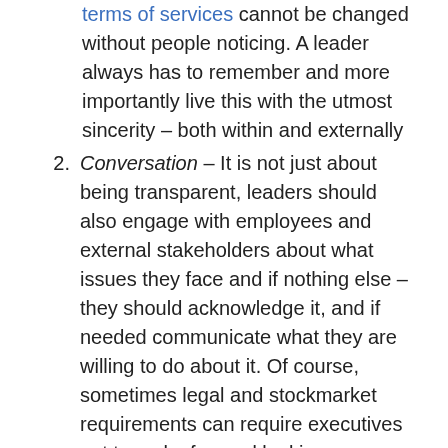terms of services cannot be changed without people noticing. A leader always has to remember and more importantly live this with the utmost sincerity – both within and externally
Conversation – It is not just about being transparent, leaders should also engage with employees and external stakeholders about what issues they face and if nothing else – they should acknowledge it, and if needed communicate what they are willing to do about it. Of course, sometimes legal and stockmarket requirements can require executives not to make forward looking statements. In earlier non-internet times I reckon this was known simply within the organization as MBWA
Content – Leaders must realise that their organizational brand and product brands are